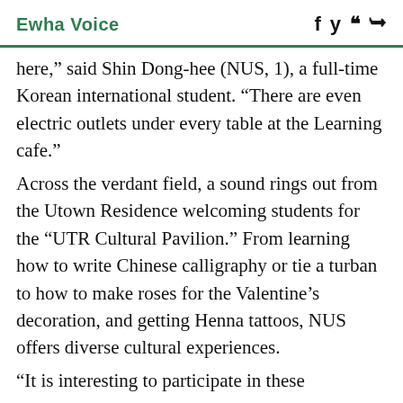Ewha Voice
here," said Shin Dong-hee (NUS, 1), a full-time Korean international student. “There are even electric outlets under every table at the Learning cafe.” Across the verdant field, a sound rings out from the Utown Residence welcoming students for the “UTR Cultural Pavilion.” From learning how to write Chinese calligraphy or tie a turban to how to make roses for the Valentine’s decoration, and getting Henna tattoos, NUS offers diverse cultural experiences. “It is interesting to participate in these